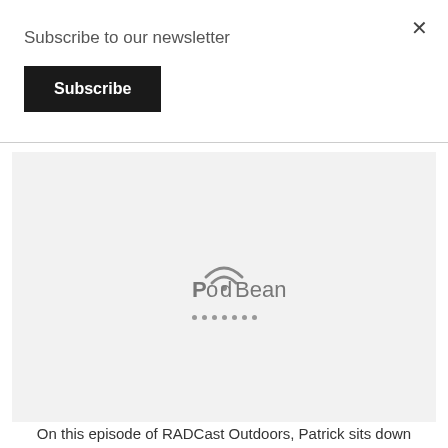Subscribe to our newsletter
Subscribe
[Figure (logo): PodBean podcast player logo with wifi signal arc above the text and loading dots below]
On this episode of RADCast Outdoors, Patrick sits down